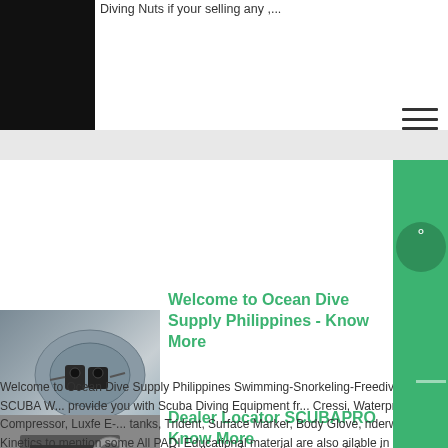Diving Nuts if your selling any ,...
[Figure (photo): Dark image strip at top left, appears to be a dark scene]
[Figure (photo): Close-up photo of scuba diving equipment, metallic compressor or regulator parts]
Welcome to Ocean Dive Supply Philippines - Know More
Welcome to Ocean Dive Supply Philippines Swimming-Snorkeling-Freediving-SCUBA W... provide you with Scuba Diving Equipment fr... Cressi, Waterproof, L W Compressor, Luxfe E-... tanks, Trident, Surface Marker, Body Glove, nderwater Kinetics to mention some All PADI Educational material are also ailable in all 8 stores in Manila, Puerto Galera....
[Figure (photo): Photo of a person in a hard hat working at industrial equipment]
Dealer Locator SCUBAPRO Know More
Once the dealer results appear, click a deal...